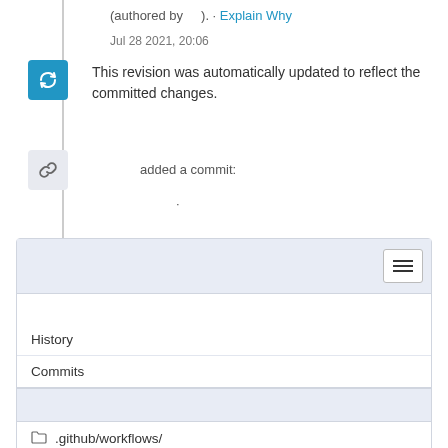(authored by ). · Explain Why
Jul 28 2021, 20:06
This revision was automatically updated to reflect the committed changes.
added a commit:
.
[Figure (screenshot): File browser card showing History and Commits menu items, followed by a file listing with .github/workflows/ folder and todoist.yml file inside]
[Figure (screenshot): Empty card with light blue header and white body at the bottom of the page]